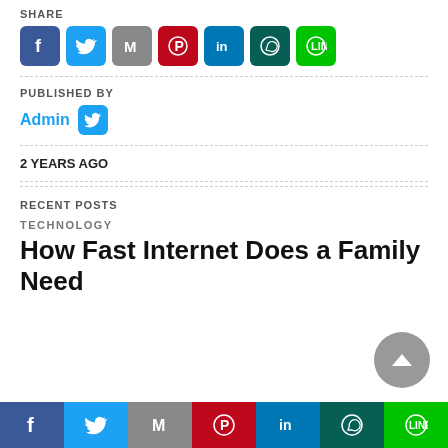SHARE
[Figure (other): Social share buttons: Facebook, Twitter, Gmail, Pinterest, LinkedIn, WhatsApp, LINE]
PUBLISHED BY
Admin (with Twitter icon)
2 YEARS AGO
RECENT POSTS
TECHNOLOGY
How Fast Internet Does a Family Need
[Figure (other): Bottom social share bar: Facebook, Twitter, Gmail, Pinterest, LinkedIn, WhatsApp, LINE]